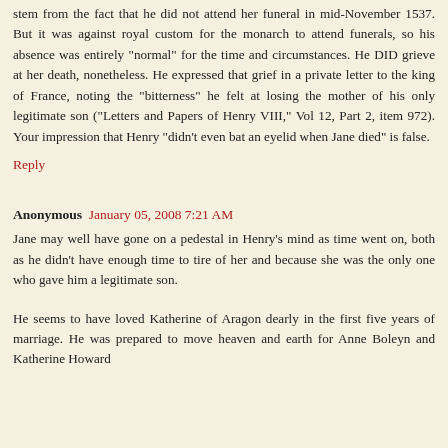stem from the fact that he did not attend her funeral in mid-November 1537. But it was against royal custom for the monarch to attend funerals, so his absence was entirely "normal" for the time and circumstances. He DID grieve at her death, nonetheless. He expressed that grief in a private letter to the king of France, noting the "bitterness" he felt at losing the mother of his only legitimate son ("Letters and Papers of Henry VIII," Vol 12, Part 2, item 972). Your impression that Henry "didn't even bat an eyelid when Jane died" is false.
Reply
Anonymous  January 05, 2008 7:21 AM
Jane may well have gone on a pedestal in Henry's mind as time went on, both as he didn't have enough time to tire of her and because she was the only one who gave him a legitimate son.
He seems to have loved Katherine of Aragon dearly in the first five years of marriage. He was prepared to move heaven and earth for Anne Boleyn and Katherine Howard